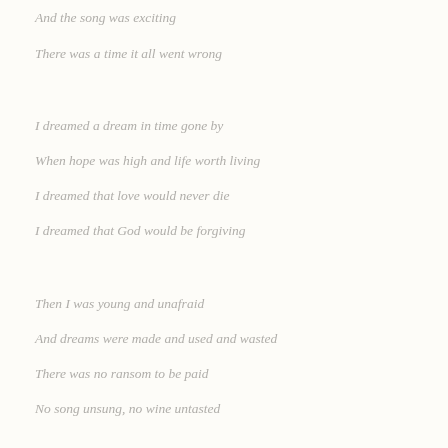And the song was exciting
There was a time it all went wrong
I dreamed a dream in time gone by
When hope was high and life worth living
I dreamed that love would never die
I dreamed that God would be forgiving
Then I was young and unafraid
And dreams were made and used and wasted
There was no ransom to be paid
No song unsung, no wine untasted